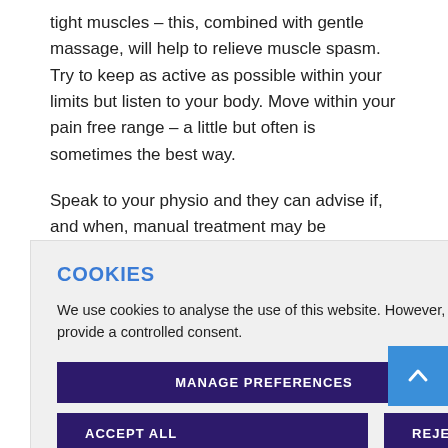tight muscles – this, combined with gentle massage, will help to relieve muscle spasm. Try to keep as active as possible within your limits but listen to your body. Move within your pain free range – a little but often is sometimes the best way.
Speak to your physio and they can advise if, and when, manual treatment may be necessary.
COOKIES
We use cookies to analyse the use of this website. However, you may visit 'Manage Preferences' to provide a controlled consent.
[MANAGE PREFERENCES] [ACCEPT ALL] [REJECT ALL]
one-to-two days fness and muscle ore difficult to get
with your n avy things
will lead to a quicker recovery with fewer complications.